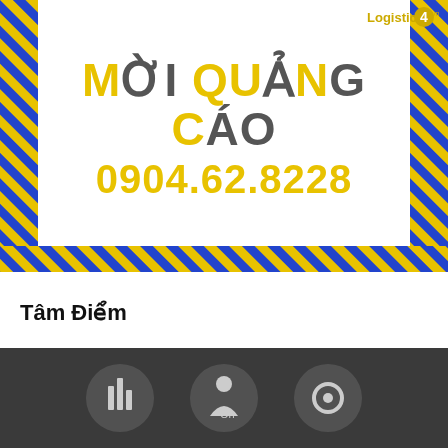[Figure (logo): Logistics4.vn logo in top right corner with yellow circle containing number 4]
[Figure (infographic): Diagonal blue and orange striped border banner with white center containing text 'MỜI QUẢNG CÁO' and phone number '0904.62.8228']
MỜI QUẢNG CÁO
0904.62.8228
Tâm Điểm
[Figure (illustration): Dark gray panel at bottom with circular icons on it]